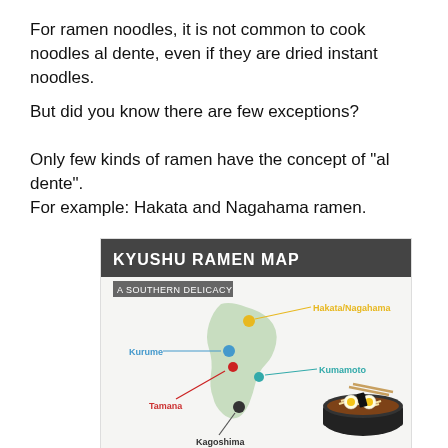For ramen noodles, it is not common to cook noodles al dente, even if they are dried instant noodles.
But did you know there are few exceptions?
Only few kinds of ramen have the concept of "al dente".
For example: Hakata and Nagahama ramen.
[Figure (infographic): Kyushu Ramen Map infographic showing a southern delicacy map with labeled locations: Hakata/Nagahama (yellow dot, top), Kurume (blue dot, middle-left), Tamana (red dot, left), Kumamoto (teal dot, right-center), Kagoshima (dark dot, bottom). A ramen bowl illustration appears at bottom right.]